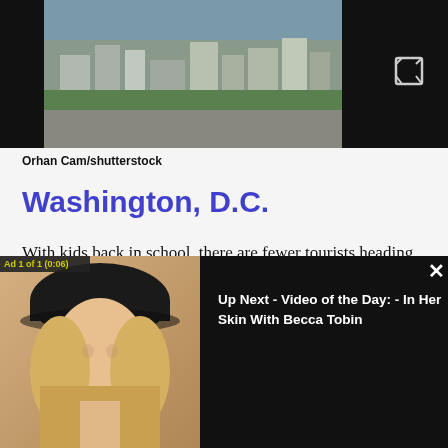[Figure (photo): Aerial view of Washington D.C. cityscape with buildings, streets, and trees visible]
Orhan Cam/shutterstock
Washington, D.C.
With kids back in school, there are fewer tourists heading to Washington. That means lighter crowds at museums and other attractions, which makes visiting in the fall a capital idea. Also gone are the summer's sweltering temperatures, with low temperatures of 40 to 60 degrees in the fall and
[Figure (screenshot): Video ad overlay showing 'Ad 1 of 1 (0:06)' with a blonde woman in a black hat on the left, and 'Up Next - Video of the Day: - In Her Skin With Becca Tobin' text on black background on the right, with a close (X) button]